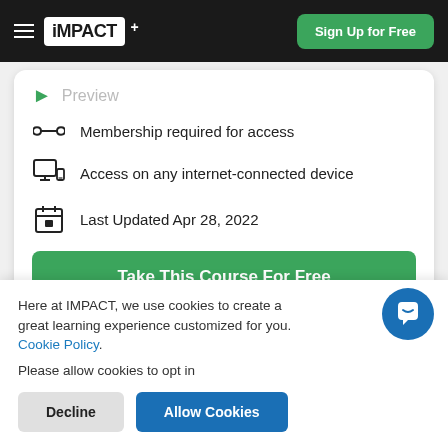iMPACT+ | Sign Up for Free
Membership required for access
Access on any internet-connected device
Last Updated Apr 28, 2022
Take This Course For Free
Here at IMPACT, we use cookies to create a great learning experience customized for you. Cookie Policy. Please allow cookies to opt in
Decline
Allow Cookies